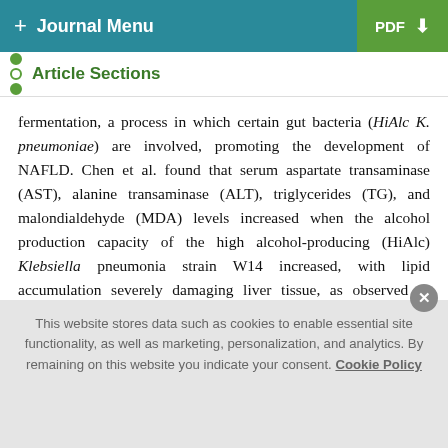+ Journal Menu | PDF ↓
Article Sections
fermentation, a process in which certain gut bacteria (HiAlc K. pneumoniae) are involved, promoting the development of NAFLD. Chen et al. found that serum aspartate transaminase (AST), alanine transaminase (ALT), triglycerides (TG), and malondialdehyde (MDA) levels increased when the alcohol production capacity of the high alcohol-producing (HiAlc) Klebsiella pneumonia strain W14 increased, with lipid accumulation severely damaging liver tissue, as observed in histology [28]. In addition, TMAO affects bile acid metabolism and exacerbates hepatic steatosis. It was observed that TMAO levels in patients with NAFLD positively correlated with BA
This website stores data such as cookies to enable essential site functionality, as well as marketing, personalization, and analytics. By remaining on this website you indicate your consent. Cookie Policy